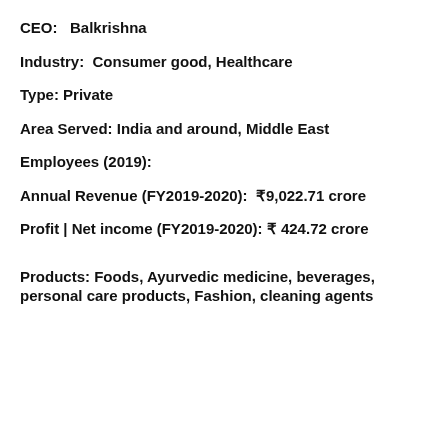CEO:   Balkrishna
Industry:  Consumer good, Healthcare
Type: Private
Area Served: India and around, Middle East
Employees (2019):
Annual Revenue (FY2019-2020):  ₹9,022.71 crore
Profit | Net income (FY2019-2020): ₹ 424.72 crore
Products: Foods, Ayurvedic medicine, beverages, personal care products, Fashion, cleaning agents